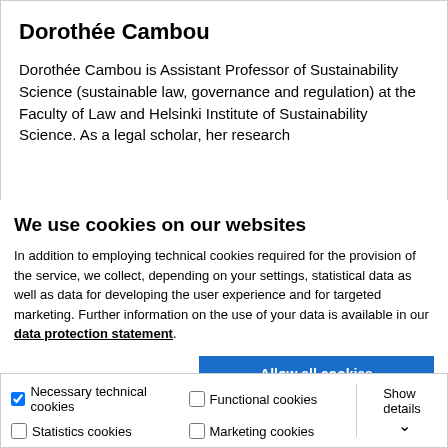Dorothée Cambou
Dorothée Cambou is Assistant Professor of Sustainability Science (sustainable law, governance and regulation) at the Faculty of Law and Helsinki Institute of Sustainability Science. As a legal scholar, her research
We use cookies on our websites
In addition to employing technical cookies required for the provision of the service, we collect, depending on your settings, statistical data as well as data for developing the user experience and for targeted marketing. Further information on the use of your data is available in our data protection statement.
Allow all cookies
Allow selection
Use necessary cookies only
Necessary technical cookies  Functional cookies  Statistics cookies  Marketing cookies  Show details